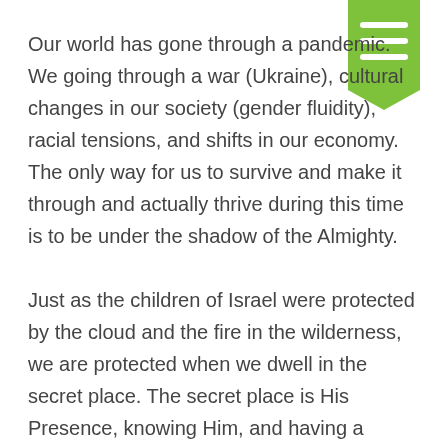[Figure (illustration): Green bookmark/ribbon icon with three white horizontal lines in the upper right corner]
Our world has gone through a pandemic. We going through a war (Ukraine), cultural changes in our society (gender fluidity), racial tensions, and shifts in our economy.  The only way for us to survive and make it through and actually thrive during this time is to be under the shadow of the Almighty.

Just as the children of Israel were protected by the cloud and the fire in the wilderness, we are protected when we dwell in the secret place. The secret place is His Presence, knowing Him, and having a relationship with Him. We have to know Him as God Most High, as Almighty. It cannot be a